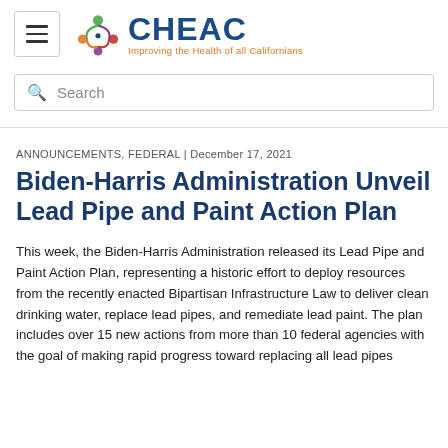CHEAC — Improving the Health of all Californians
Search
ANNOUNCEMENTS, FEDERAL | December 17, 2021
Biden-Harris Administration Unveil Lead Pipe and Paint Action Plan
This week, the Biden-Harris Administration released its Lead Pipe and Paint Action Plan, representing a historic effort to deploy resources from the recently enacted Bipartisan Infrastructure Law to deliver clean drinking water, replace lead pipes, and remediate lead paint. The plan includes over 15 new actions from more than 10 federal agencies with the goal of making rapid progress toward replacing all lead pipes